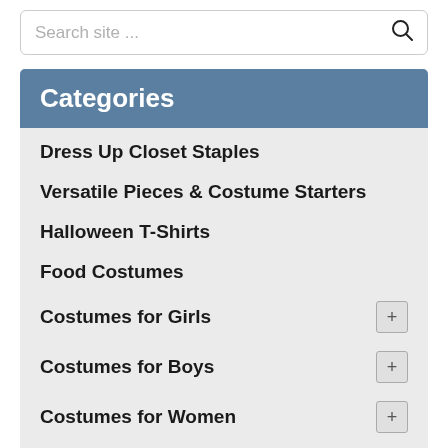Search site ...
Categories
Dress Up Closet Staples
Versatile Pieces & Costume Starters
Halloween T-Shirts
Food Costumes
Costumes for Girls
Costumes for Boys
Costumes for Women
Costumes for Men
Group Costumes
Couples Costumes
Infants & Toddlers